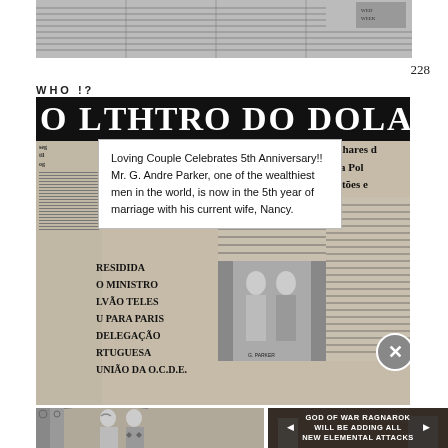[Figure (photo): Top portion showing a close-up of a printed newspaper page with columns of text]
228
WHO !?
[Figure (screenshot): Newspaper front page in Portuguese with headline 'O LTHTRO DO DOLAR', showing columns of text, a white popup box overlay, a photo of a couple (G. Parker), and text 'Milhares... pela Po... bastões e...' and 'RESIDIDA... O MINISTRO... LVÃO TELES... U PARA PARIS... DELEGAÇÃO... RTUGUESA... UNIÃO DA O.C.D.E.']
Loving Couple Celebrates 5th Anniversary!! Mr. G. Andre Parker, one of the wealthiest men in the world, is now in the 5th year of marriage with his current wife, Nancy.
[Figure (screenshot): Video overlay showing 'GOD OF WAR RAGNAROK WILL BE ADDING ALL NEW ELEMENTAL ATTACKS' over game footage]
[Figure (illustration): Comic book style illustration of a couple standing in front of ornate gates]